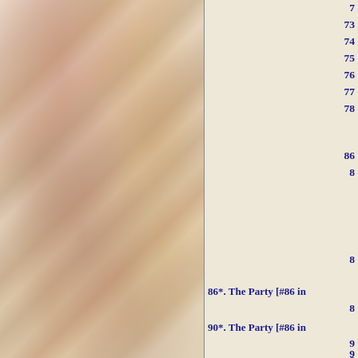[Figure (photo): Left half of page showing a collage/pile of colorful stickers, labels, and miscellaneous items as a background image.]
7
73
74
75
76
77
78
86
8
8
86*. The Party [#86 in
8
90*. The Party [#86 in
9
9
9